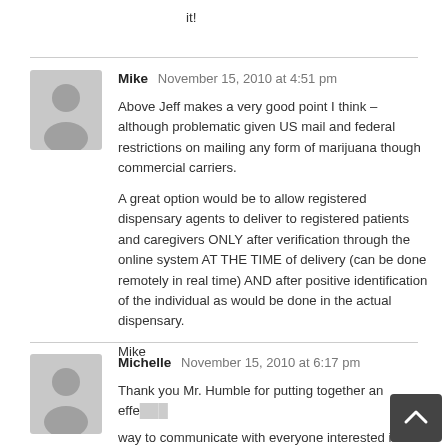it!
Mike  November 15, 2010 at 4:51 pm

Above Jeff makes a very good point I think – although problematic given US mail and federal restrictions on mailing any form of marijuana though commercial carriers.

A great option would be to allow registered dispensary agents to deliver to registered patients and caregivers ONLY after verification through the online system AT THE TIME of delivery (can be done remotely in real time) AND after positive identification of the individual as would be done in the actual dispensary.

Mike
Michelle  November 15, 2010 at 6:17 pm

Thank you Mr. Humble for putting together an effe... way to communicate with everyone interested in keeping